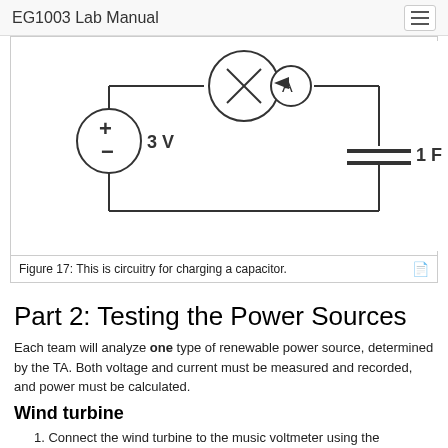EG1003 Lab Manual
[Figure (circuit-diagram): Circuit diagram showing a 3V voltage source (battery with + and - terminals), an ammeter (A) in series with a light bulb symbol, connected to a 1F capacitor. The components form a closed loop circuit.]
Figure 17: This is circuitry for charging a capacitor.
Part 2: Testing the Power Sources
Each team will analyze one type of renewable power source, determined by the TA. Both voltage and current must be measured and recorded, and power must be calculated.
Wind turbine
1. Connect the wind turbine to the music voltmeter using the